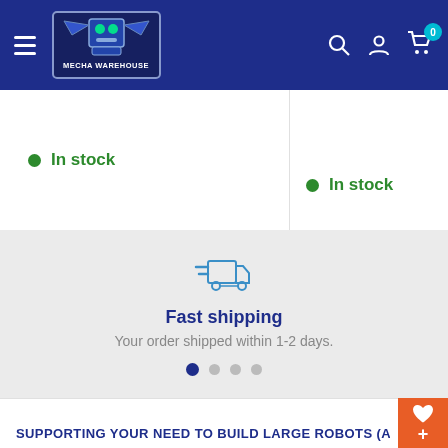Mecha Warehouse navigation header with hamburger menu, logo, search, account, and cart icons
In stock
In stock
[Figure (infographic): Fast shipping truck icon in blue outline style]
Fast shipping
Your order shipped within 1-2 days.
SUPPORTING YOUR NEED TO BUILD LARGE ROBOTS (AT A SMALLER SCALE)